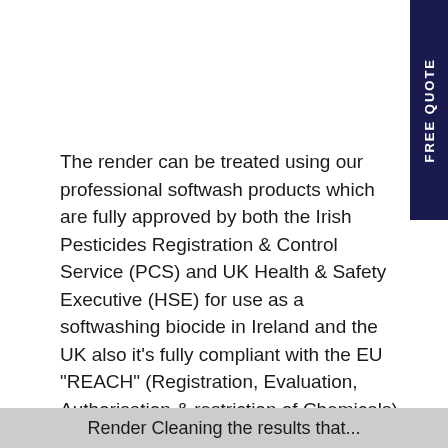[Figure (other): Dark navy vertical tab on the right edge with rotated text reading 'FREE QUOTE']
The render can be treated using our professional softwash products which are fully approved by both the Irish Pesticides Registration & Control Service (PCS) and UK Health & Safety Executive (HSE) for use as a softwashing biocide in Ireland and the UK also it's fully compliant with the EU "REACH" (Registration, Evaluation, Authorisation & restriction of Chemicals) regulations for cleaning exterior hard surfaces. This professional grade product can give outstanding results as can be seen in the photos.  A safe and effect method to return your property to that new look again. We are an experienced Softwash applicators with all the professional up to date equipment to give a quality finish every time.
Render Cleaning the results that...